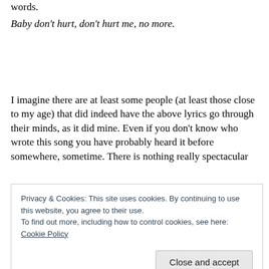words.
Baby don't hurt, don't hurt me, no more.
I imagine there are at least some people (at least those close to my age) that did indeed have the above lyrics go through their minds, as it did mine. Even if you don't know who wrote this song you have probably heard it before somewhere, sometime. There is nothing really spectacular
Privacy & Cookies: This site uses cookies. By continuing to use this website, you agree to their use.
To find out more, including how to control cookies, see here: Cookie Policy
Close and accept
...about it, something...they only...